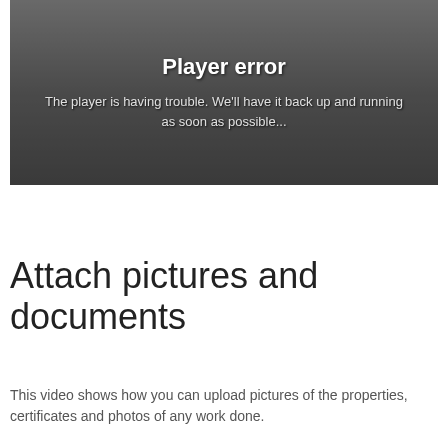[Figure (screenshot): Video player showing an error state: 'Player error — The player is having trouble. We'll have it back up and running as soon as possible...' with a blurred table/spreadsheet visible in the background.]
Attach pictures and documents
This video shows how you can upload pictures of the properties, certificates and photos of any work done.